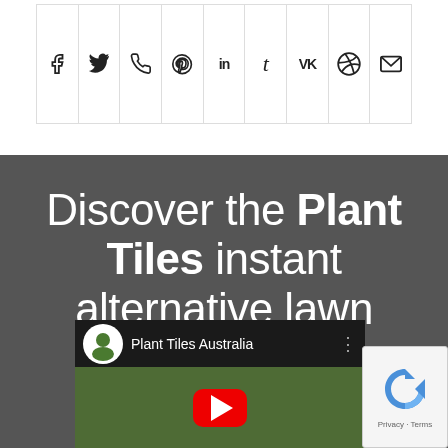[Figure (other): Social sharing icon bar with 9 icons: Facebook (f), Twitter (bird), WhatsApp (phone), Pinterest (P), LinkedIn (in), Tumblr (t), VK (VK), Reddit (alien), Email (envelope)]
Discover the Plant Tiles instant alternative lawn system
[Figure (screenshot): YouTube video thumbnail showing Plant Tiles Australia channel with green grass background, red play button, and reCAPTCHA widget overlay]